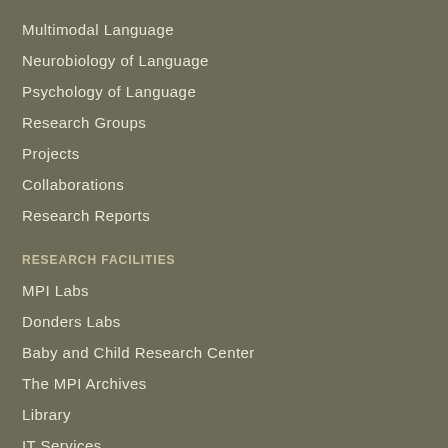Multimodal Language
Neurobiology of Language
Psychology of Language
Research Groups
Projects
Collaborations
Research Reports
RESEARCH FACILITIES
MPI Labs
Donders Labs
Baby and Child Research Center
The MPI Archives
Library
IT Services
The Language Archive
CAREERS & EDUCATION
Vacancies